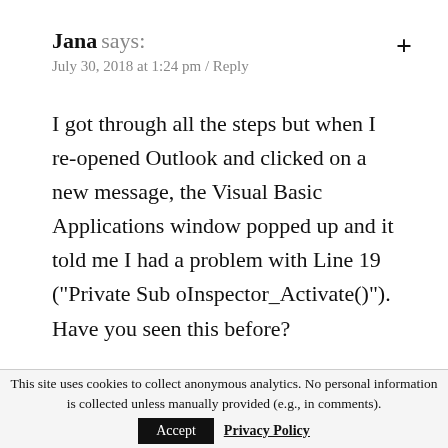Jana says: July 30, 2018 at 1:24 pm / Reply
I got through all the steps but when I re-opened Outlook and clicked on a new message, the Visual Basic Applications window popped up and it told me I had a problem with Line 19 ("Private Sub oInspector_Activate()"). Have you seen this before?
This site uses cookies to collect anonymous analytics. No personal information is collected unless manually provided (e.g., in comments). Accept  Privacy Policy